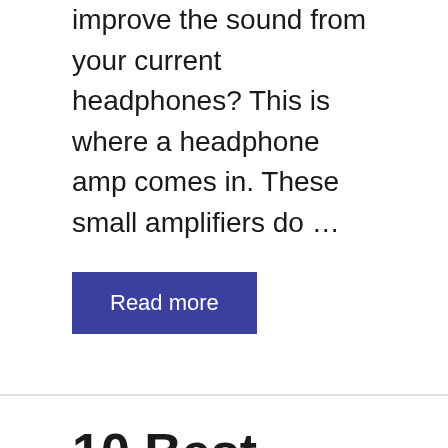improve the sound from your current headphones? This is where a headphone amp comes in. These small amplifiers do …
Read more
10 Best Portable CD Players